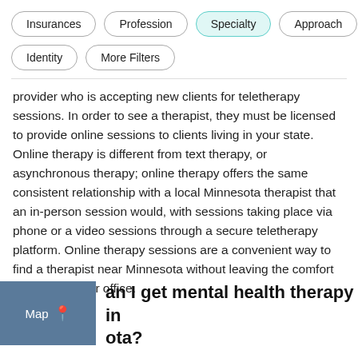[Figure (screenshot): Filter buttons row: Insurances, Profession, Specialty (active/highlighted in teal), Approach; second row: Identity, More Filters]
provider who is accepting new clients for teletherapy sessions. In order to see a therapist, they must be licensed to provide online sessions to clients living in your state. Online therapy is different from text therapy, or asynchronous therapy; online therapy offers the same consistent relationship with a local Minnesota therapist that an in-person session would, with sessions taking place via phone or a video sessions through a secure teletherapy platform. Online therapy sessions are a convenient way to find a therapist near Minnesota without leaving the comfort of your home or office.
an I get mental health therapy in ota?